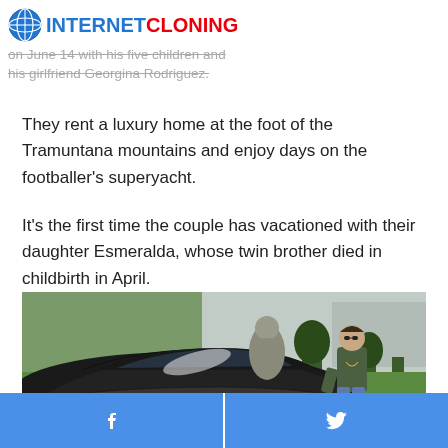INTERNET CLONING — on June 14 with his five children and his girlfriend Georgina Rodriguez.
They rent a luxury home at the foot of the Tramuntana mountains and enjoy days on the footballer's superyacht.
It's the first time the couple has vacationed with their daughter Esmeralda, whose twin brother died in childbirth in April.
[Figure (photo): A man in a green sweater and jeans leaning against a dark luxury sports car in a garden setting with greenery and a Buddha statue in the background.]
Facebook share | Twitter share